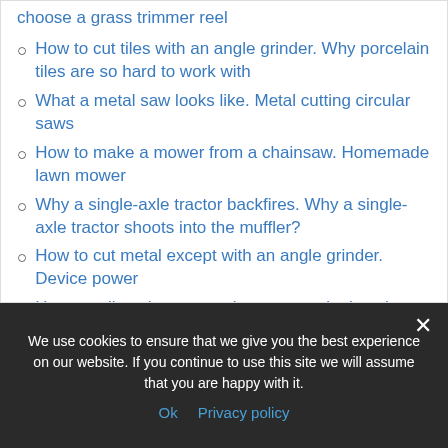choose a grass trimmer reel
How to cut tiles with an angle grinder. Why porcelain tiles are so hard to work with
What a metal saw looks like. Metal cutting circular saws
How to make a mower from a chainsaw. Homemade lawn mower
Why a single-axle tractor backfires. Why a single-axle tractor shoots into the muffler?
How to cut metal except with an angle grinder. Device power
How to adjust the potato planter on a single axle tractor. How to properly plow with a power tiller: preparatory work
We use cookies to ensure that we give you the best experience on our website. If you continue to use this site we will assume that you are happy with it.
Ok   Privacy policy